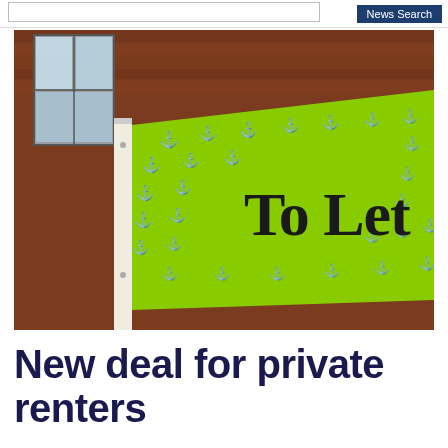News Search
[Figure (photo): A bright green 'To Let' estate agent sign with white anchor pattern decoration, photographed at an angle against a brick building facade with windows visible in the background.]
New deal for private renters